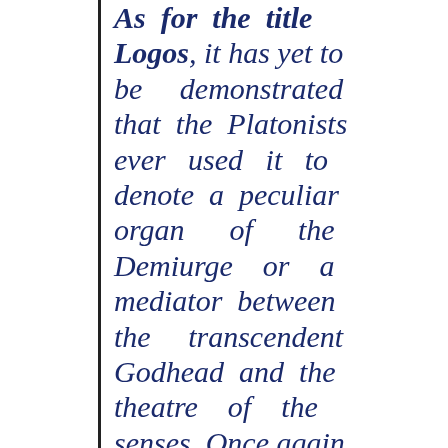As for the title Logos, it has yet to be demonstrated that the Platonists ever used it to denote a peculiar organ of the Demiurge or a mediator between the transcendent Godhead and the theatre of the senses. Once again Philo needed to look no further than the opening chapter of Genesis